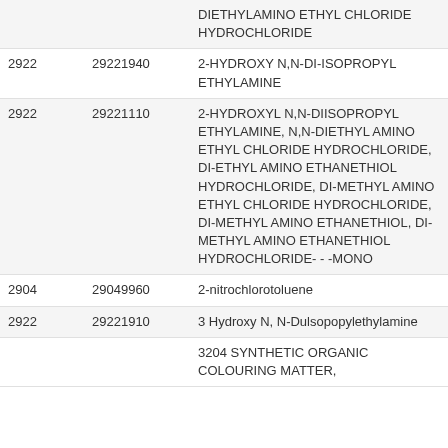| [Code1] | [Code2] | Description | Rate |
| --- | --- | --- | --- |
|  |  | DIETHYLAMINO ETHYL CHLORIDE HYDROCHLORIDE |  |
| 2922 | 29221940 | 2-HYDROXY N,N-DI-ISOPROPYL ETHYLAMINE | 18% |
| 2922 | 29221110 | 2-HYDROXYL N,N-DIISOPROPYL ETHYLAMINE, N,N-DIETHYL AMINO ETHYL CHLORIDE HYDROCHLORIDE, DI-ETHYL AMINO ETHANETHIOL HYDROCHLORIDE, DI-METHYL AMINO ETHYL CHLORIDE HYDROCHLORIDE, DI-METHYL AMINO ETHANETHIOL, DI-METHYL AMINO ETHANETHIOL HYDROCHLORIDE- - -MONO | 18% |
| 2904 | 29049960 | 2-nitrochlorotoluene | 18% |
| 2922 | 29221910 | 3 Hydroxy N, N-Dulsopopylethylamine | 18% |
|  |  | 3204 SYNTHETIC ORGANIC COLOURING MATTER, |  |